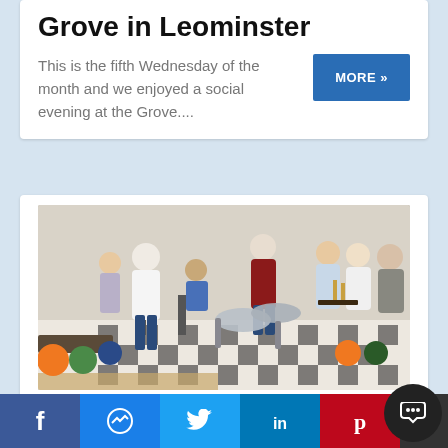Grove in Leominster
This is the fifth Wednesday of the month and we enjoyed a social evening at the Grove....
[Figure (photo): Group of people at a bowling alley, some seated and some standing, with bowling balls visible on racks and a black-and-white checkered floor]
Steak and bowls at the Grove in Leominster
f | messenger | Twitter bird | in | Pinterest p